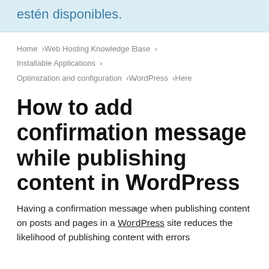estén disponibles.
Home › Web Hosting Knowledge Base › Installable Applications › Optimization and configuration › WordPress › Here
How to add confirmation message while publishing content in WordPress
Having a confirmation message when publishing content on posts and pages in a WordPress site reduces the likelihood of publishing content with errors